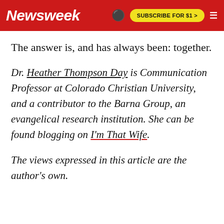Newsweek | SUBSCRIBE FOR $1 >
The answer is, and has always been: together.
Dr. Heather Thompson Day is Communication Professor at Colorado Christian University, and a contributor to the Barna Group, an evangelical research institution. She can be found blogging on I'm That Wife.
The views expressed in this article are the author's own.